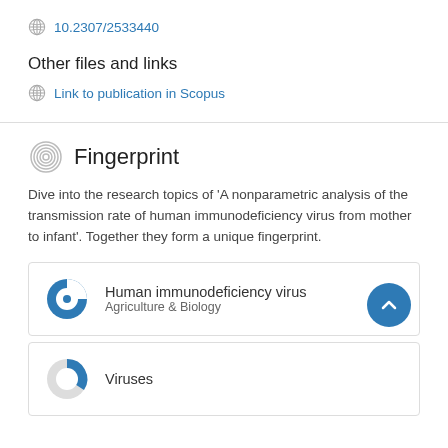10.2307/2533440
Other files and links
Link to publication in Scopus
Fingerprint
Dive into the research topics of 'A nonparametric analysis of the transmission rate of human immunodeficiency virus from mother to infant'. Together they form a unique fingerprint.
Human immunodeficiency virus
Agriculture & Biology
Viruses